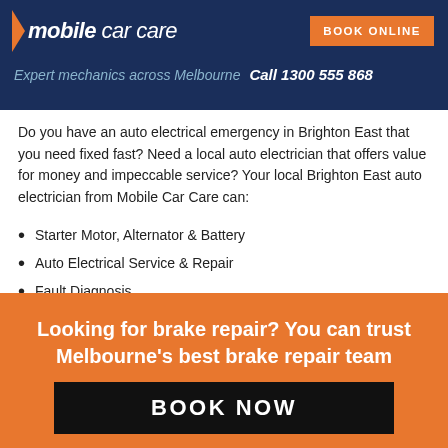mobile car care | BOOK ONLINE | Expert mechanics across Melbourne Call 1300 555 868
Do you have an auto electrical emergency in Brighton East that you need fixed fast? Need a local auto electrician that offers value for money and impeccable service? Your local Brighton East auto electrician from Mobile Car Care can:
Starter Motor, Alternator & Battery
Auto Electrical Service & Repair
Fault Diagnosis
ECU
Distributors
Looking for brake repair? You can trust Melbourne's best brake repair team
BOOK NOW